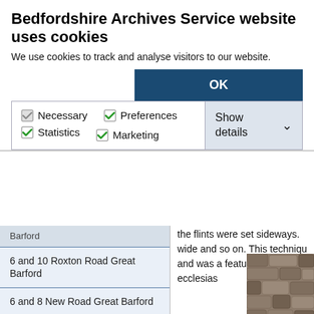Bedfordshire Archives Service website uses cookies
We use cookies to track and analyse visitors to our website.
OK
Necessary  Preferences  Statistics  Marketing  Show details
Barford
6 and 10 Roxton Road Great Barford
6 and 8 New Road Great Barford
61 Green End Road Great Barford
65 Green End Road Great Barford
8 and 10 High Street Great Barford
8 Bedford Road - Dorchester Cottage Great Barford
Alban Middle School Great Barford
the flints were set sideways. wide and so on. This techniqu and was a feature of ecclesias
[Figure (photo): Partial photo of stone/flint wall structure, partially cropped on right side]